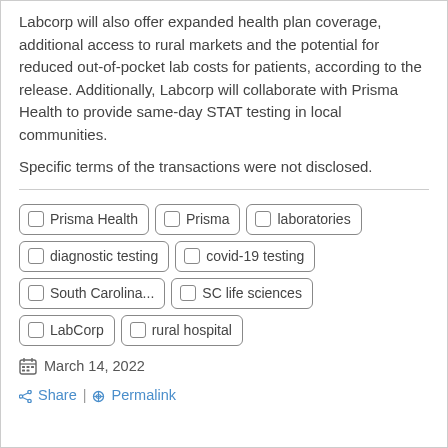Labcorp will also offer expanded health plan coverage, additional access to rural markets and the potential for reduced out-of-pocket lab costs for patients, according to the release. Additionally, Labcorp will collaborate with Prisma Health to provide same-day STAT testing in local communities.
Specific terms of the transactions were not disclosed.
Prisma Health
Prisma
laboratories
diagnostic testing
covid-19 testing
South Carolina...
SC life sciences
LabCorp
rural hospital
March 14, 2022
Share | Permalink